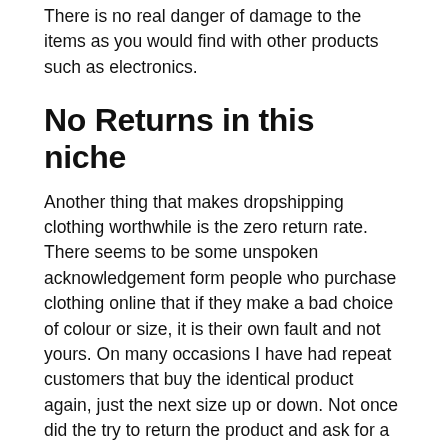There is no real danger of damage to the items as you would find with other products such as electronics.
No Returns in this niche
Another thing that makes dropshipping clothing worthwhile is the zero return rate. There seems to be some unspoken acknowledgement form people who purchase clothing online that if they make a bad choice of colour or size, it is their own fault and not yours. On many occasions I have had repeat customers that buy the identical product again, just the next size up or down. Not once did the try to return the product and ask for a swap or a refund.